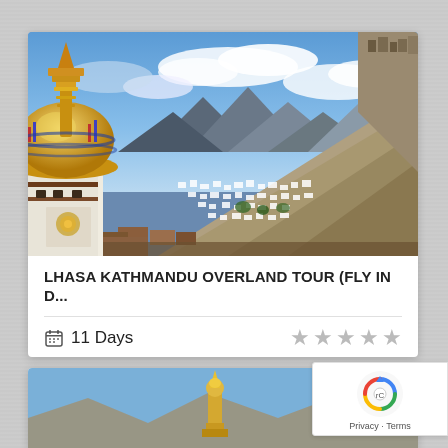[Figure (photo): Tibetan monastery/stupa with golden dome in foreground, ancient hillside town with white buildings in middle ground, barren rocky mountains under blue sky with clouds in background.]
LHASA KATHMANDU OVERLAND TOUR (FLY IN D...
11 Days
[Figure (photo): Partial view of another tour listing photo showing a golden statue under blue sky.]